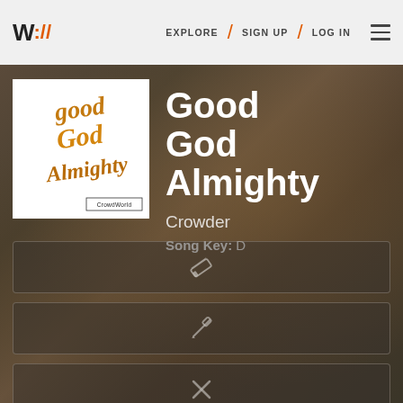W:// EXPLORE / SIGN UP / LOG IN
[Figure (illustration): Album art for 'Good God Almighty' by Crowder — white background with gold/orange handwritten script text reading 'good God Almighty', and a small label at the bottom right reading 'CrowderWorld']
Good God Almighty
Crowder
Song Key: D
[Figure (other): Pencil/edit icon button (lighter, eraser-style)]
[Figure (other): Pencil/edit icon button (darker, pen-style)]
[Figure (other): X / close icon button]
[Figure (other): Vertical bars / menu icon button (partially visible)]